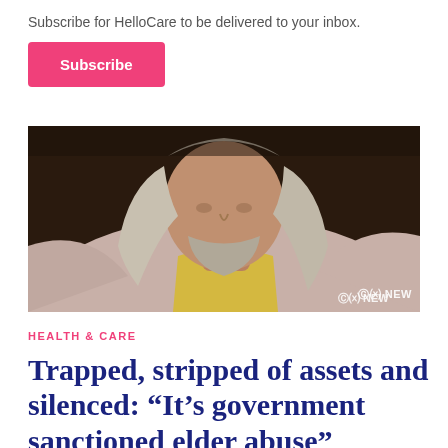Subscribe for HelloCare to be delivered to your inbox.
Subscribe
[Figure (photo): Close-up photo of an elderly man with long grey hair and grey beard, wearing a yellow undershirt and light pink/lavender button-up shirt. ABC NEWS watermark visible in bottom right corner.]
HEALTH & CARE
Trapped, stripped of assets and silenced: “It’s government sanctioned elder abuse”